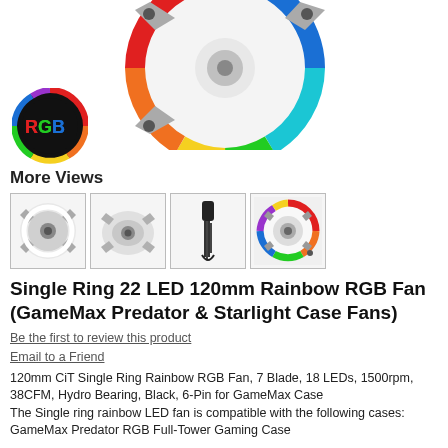[Figure (photo): Main product photo of a 120mm Rainbow RGB fan with multicolor LED ring (red, orange, yellow, green, blue) on white background, with a small round RGB logo badge overlaid at bottom-left]
More Views
[Figure (photo): Four thumbnail images of the fan product: front view white, angled/back view white, cable connector closeup, front view with lit RGB ring]
Single Ring 22 LED 120mm Rainbow RGB Fan (GameMax Predator & Starlight Case Fans)
Be the first to review this product
Email to a Friend
120mm CiT Single Ring Rainbow RGB Fan, 7 Blade, 18 LEDs, 1500rpm, 38CFM, Hydro Bearing, Black, 6-Pin for GameMax Case The Single ring rainbow LED fan is compatible with the following cases: GameMax Predator RGB Full-Tower Gaming Case